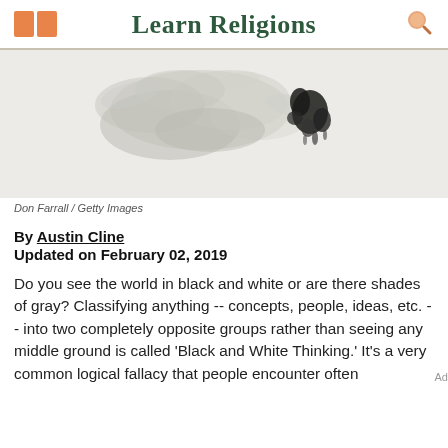Learn Religions
[Figure (photo): Ink or smoke dispersing in water on a light gray background, black ink cloud with wisps of gray]
Don Farrall / Getty Images
By Austin Cline
Updated on February 02, 2019
Do you see the world in black and white or are there shades of gray? Classifying anything -- concepts, people, ideas, etc. -- into two completely opposite groups rather than seeing any middle ground is called 'Black and White Thinking.' It's a very common logical fallacy that people encounter often